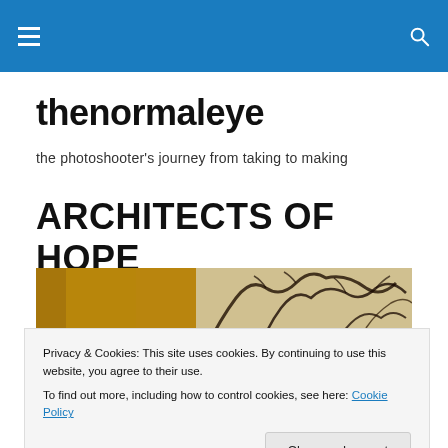thenormaleye — site navigation header with hamburger menu and search icon
thenormaleye
the photoshooter's journey from taking to making
ARCHITECTS OF HOPE
[Figure (photo): A dark mural artwork on a wall, featuring abstract black brushstroke figures resembling trees or creatures against a tan/gold background]
Privacy & Cookies: This site uses cookies. By continuing to use this website, you agree to their use.
To find out more, including how to control cookies, see here: Cookie Policy
[Figure (photo): Bottom strip of a dark photo showing people in a dimly lit venue]